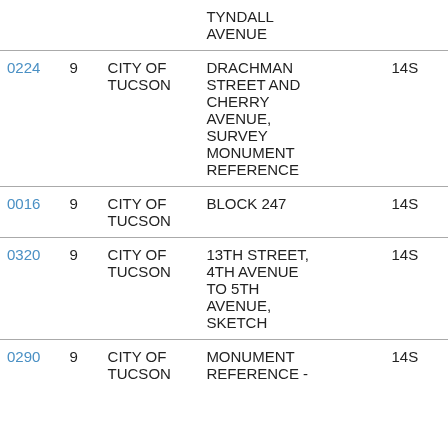|  |  |  | TYNDALL AVENUE |  |
| 0224 | 9 | CITY OF TUCSON | DRACHMAN STREET AND CHERRY AVENUE, SURVEY MONUMENT REFERENCE | 14S |
| 0016 | 9 | CITY OF TUCSON | BLOCK 247 | 14S |
| 0320 | 9 | CITY OF TUCSON | 13TH STREET, 4TH AVENUE TO 5TH AVENUE, SKETCH | 14S |
| 0290 | 9 | CITY OF TUCSON | MONUMENT REFERENCE - | 14S |